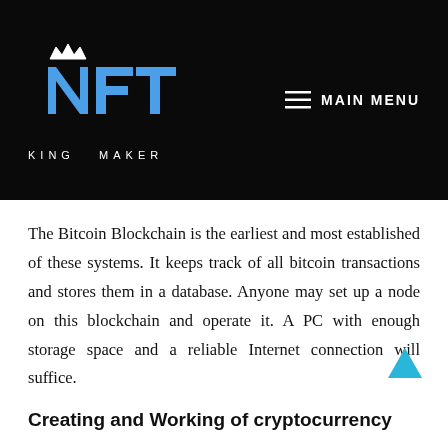[Figure (logo): NFT King Maker logo with blue stylized NFT letters and crown on black background]
≡ MAIN MENU
The Bitcoin Blockchain is the earliest and most established of these systems. It keeps track of all bitcoin transactions and stores them in a database. Anyone may set up a node on this blockchain and operate it. A PC with enough storage space and a reliable Internet connection will suffice.
Creating and Working of cryptocurrency